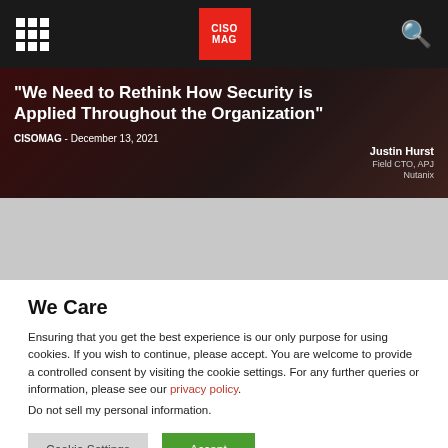CISO MAG navigation bar with grid menu, CISO MAG logo, and search icon
“We Need to Rethink How Security is Applied Throughout the Organization”
CISOMAG - December 13, 2021
Justin Hurst
Field CTO, APJ
Nutanix
[Figure (other): Gray advertisement/banner placeholder area]
We Care
Ensuring that you get the best experience is our only purpose for using cookies. If you wish to continue, please accept. You are welcome to provide a controlled consent by visiting the cookie settings. For any further queries or information, please see our privacy policy.
Do not sell my personal information.
Cookie Settings   Accept